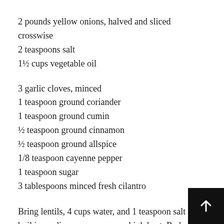2 pounds yellow onions, halved and sliced crosswise
2 teaspoons salt
1½ cups vegetable oil
3 garlic cloves, minced
1 teaspoon ground coriander
1 teaspoon ground cumin
½ teaspoon ground cinnamon
½ teaspoon ground allspice
1/8 teaspoon cayenne pepper
1 teaspoon sugar
3 tablespoons minced fresh cilantro
Bring lentils, 4 cups water, and 1 teaspoon salt to boil in medium saucepan over high heat. Reduce heat to low and cook until lentils are tender, 15 to 17 minutes. Drain and set aside. While lentils cook, place rice in medium bowl and cover by 2 inches with hot tap wat…